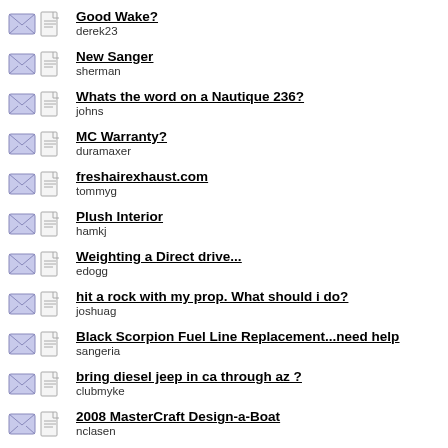Good Wake?
derek23
New Sanger
sherman
Whats the word on a Nautique 236?
johns
MC Warranty?
duramaxer
freshairexhaust.com
tommyg
Plush Interior
hamkj
Weighting a Direct drive...
edogg
hit a rock with my prop. What should i do?
joshuag
Black Scorpion Fuel Line Replacement...need help
sangeria
bring diesel jeep in ca through az ?
clubmyke
2008 MasterCraft Design-a-Boat
nclasen
A Good source to buy perfect pass?
65sanford